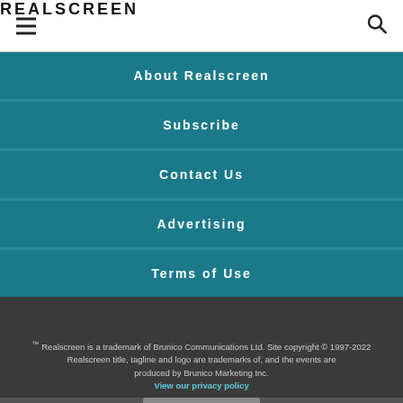REALSCREEN
About Realscreen
Subscribe
Contact Us
Advertising
Terms of Use
™ Realscreen is a trademark of Brunico Communications Ltd. Site copyright © 1997-2022 Realscreen title, tagline and logo are trademarks of, and the events are produced by Brunico Marketing Inc. View our privacy policy